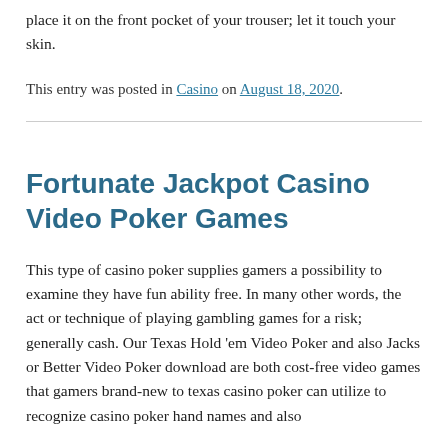place it on the front pocket of your trouser; let it touch your skin.
This entry was posted in Casino on August 18, 2020.
Fortunate Jackpot Casino Video Poker Games
This type of casino poker supplies gamers a possibility to examine they have fun ability free. In many other words, the act or technique of playing gambling games for a risk; generally cash. Our Texas Hold 'em Video Poker and also Jacks or Better Video Poker download are both cost-free video games that gamers brand-new to texas casino poker can utilize to recognize casino poker hand names and also